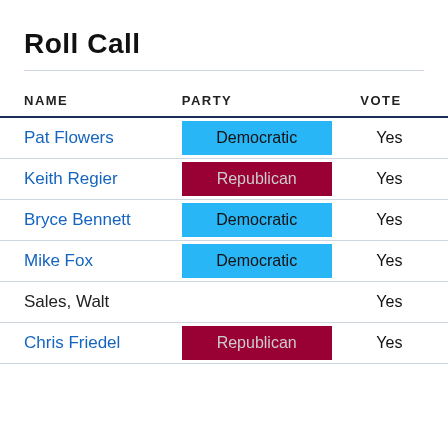Roll Call
| NAME | PARTY | VOTE |
| --- | --- | --- |
| Pat Flowers | Democratic | Yes |
| Keith Regier | Republican | Yes |
| Bryce Bennett | Democratic | Yes |
| Mike Fox | Democratic | Yes |
| Sales, Walt |  | Yes |
| Chris Friedel | Republican | Yes |